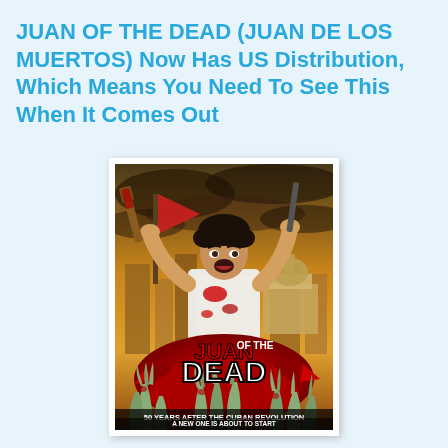JUAN OF THE DEAD (JUAN DE LOS MUERTOS) Now Has US Distribution, Which Means You Need To See This When It Comes Out
[Figure (photo): Movie poster for 'Juan of the Dead' (Juan de los Muertos). Shows a man in a white tank top splattered with blood, raising a bat and a weapon above his head, standing in a city with a capitol building. Zombie hands reach up from a blood splatter at the bottom, with the title 'Juan of the Dead' in large letters and the tagline '50 Years After the Cuban Revolution, A New One Is About To Start'.]